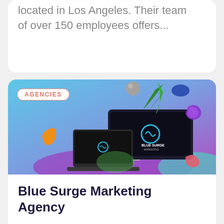located in Los Angeles. Their team of over 150 employees offers...
[Figure (illustration): Blue Surge Marketing Agency promotional image showing a desktop computer and laptop with the Blue Surge Marketing logo on screens, surrounded by 3D colorful objects on a blue/purple gradient background. An 'AGENCIES' badge is shown in the top-left corner.]
Blue Surge Marketing Agency
Blue Surge Marketing Agency is a full-service digital marketing, web design, and consulting firm based...